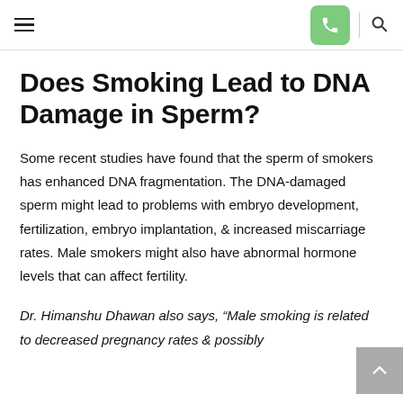Navigation header with hamburger menu, phone button, and search icon
Does Smoking Lead to DNA Damage in Sperm?
Some recent studies have found that the sperm of smokers has enhanced DNA fragmentation. The DNA-damaged sperm might lead to problems with embryo development, fertilization, embryo implantation, & increased miscarriage rates. Male smokers might also have abnormal hormone levels that can affect fertility.
Dr. Himanshu Dhawan also says, “Male smoking is related to decreased pregnancy rates & possibly